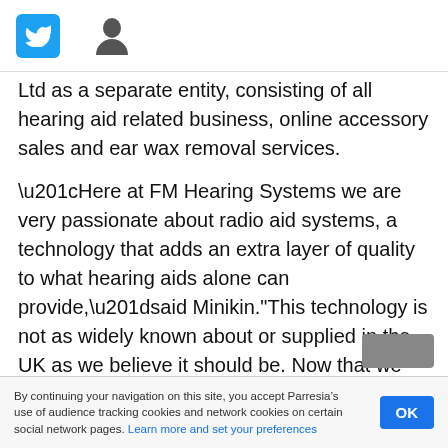[Twitter icon] [User icon]
Ltd as a separate entity, consisting of all hearing aid related business, online accessory sales and ear wax removal services.
“Here at FM Hearing Systems we are very passionate about radio aid systems, a technology that adds an extra layer of quality to what hearing aids alone can provide,”said Minikin."This technology is not as widely known about or supplied in the UK as we believe it should be. Now that we have partnered with Sonova, we can take the business to the next level and continue in our mission to spread the word about ‘the best kept secret in audiology’,” he added.
By continuing your navigation on this site, you accept Parresia’s use of audience tracking cookies and network cookies on certain social network pages. Learn more and set your preferences OK